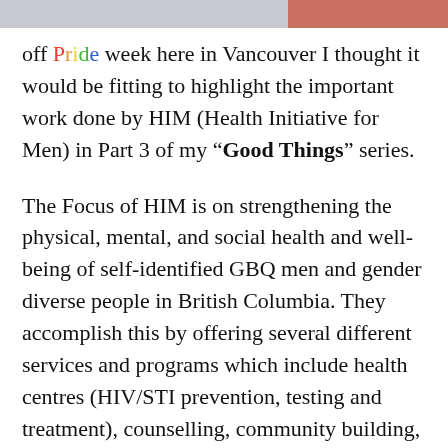[Figure (other): Top banner with grey left section and reddish-brown right section]
off Pride week here in Vancouver I thought it would be fitting to highlight the important work done by HIM (Health Initiative for Men) in Part 3 of my “Good Things” series.
The Focus of HIM is on strengthening the physical, mental, and social health and well-being of self-identified GBQ men and gender diverse people in British Columbia. They accomplish this by offering several different services and programs which include health centres (HIV/STI prevention, testing and treatment), counselling, community building, education, and outreach.
HIM has health centres in five locations throughout the Lower Mainland (in Vancouver on